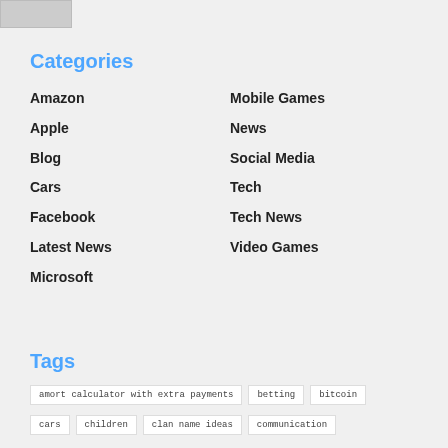[Figure (other): Small thumbnail image in top-left corner]
Categories
Amazon
Apple
Blog
Cars
Facebook
Latest News
Microsoft
Mobile Games
News
Social Media
Tech
Tech News
Video Games
Tags
amort calculator with extra payments
betting
bitcoin
cars
children
clan name ideas
communication